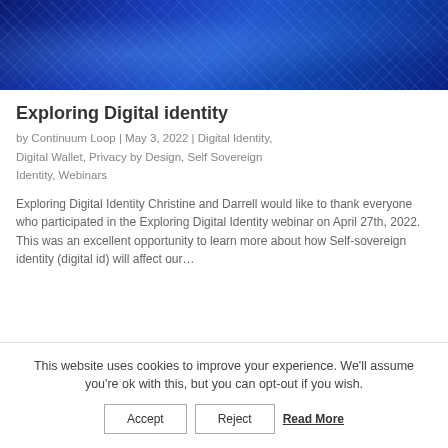[Figure (photo): Blue circuit board / digital technology background image with glowing lines and nodes]
Exploring Digital identity
by Continuum Loop | May 3, 2022 | Digital Identity, Digital Wallet, Privacy by Design, Self Sovereign Identity, Webinars
Exploring Digital Identity Christine and Darrell would like to thank everyone who participated in the Exploring Digital Identity webinar on April 27th, 2022. This was an excellent opportunity to learn more about how Self-sovereign identity (digital id) will affect our…
This website uses cookies to improve your experience. We'll assume you're ok with this, but you can opt-out if you wish.
Accept   Reject   Read More